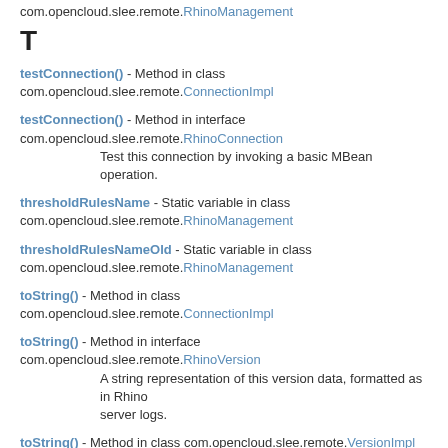com.opencloud.slee.remote.RhinoManagement
T
testConnection() - Method in class com.opencloud.slee.remote.ConnectionImpl
testConnection() - Method in interface com.opencloud.slee.remote.RhinoConnection
    Test this connection by invoking a basic MBean operation.
thresholdRulesName - Static variable in class com.opencloud.slee.remote.RhinoManagement
thresholdRulesNameOld - Static variable in class com.opencloud.slee.remote.RhinoManagement
toString() - Method in class com.opencloud.slee.remote.ConnectionImpl
toString() - Method in interface com.opencloud.slee.remote.RhinoVersion
    A string representation of this version data, formatted as in Rhino server logs.
toString() - Method in class com.opencloud.slee.remote.VersionImpl
traceObjectName - Static variable in class com.opencloud.slee.remote.SleeManagement
U
unregisterMBean(ObjectName) - Method in class